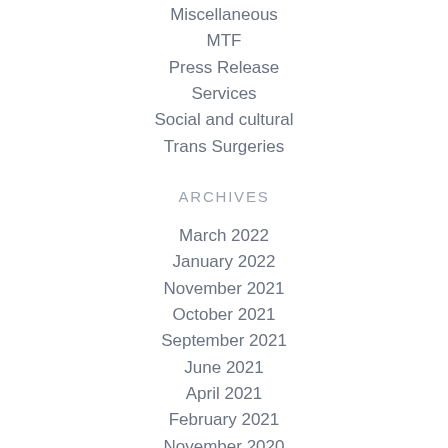Miscellaneous
MTF
Press Release
Services
Social and cultural
Trans Surgeries
ARCHIVES
March 2022
January 2022
November 2021
October 2021
September 2021
June 2021
April 2021
February 2021
November 2020
October 2020
September 2020
July 2020
June 2020